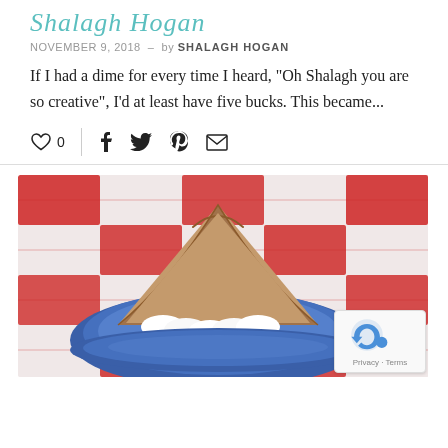Shalagh Hogan
NOVEMBER 9, 2018  -  by SHALAGH HOGAN
If I had a dime for every time I heard, "Oh Shalagh you are so creative", I'd at least have five bucks. This became...
[Figure (other): Social sharing bar with heart/like icon showing 0, vertical divider, and social media icons for Facebook, Twitter, Pinterest, and email]
[Figure (photo): A slice of chocolate pie with whipped cream on a blue plate, set on a red and white checkered background. A reCAPTCHA badge is overlaid in the bottom right corner.]